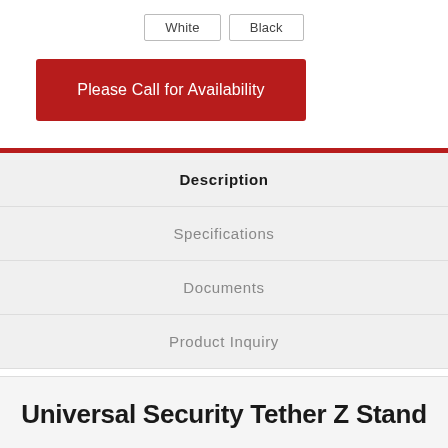White
Black
Please Call for Availability
Description
Specifications
Documents
Product Inquiry
Universal Security Tether Z Stand